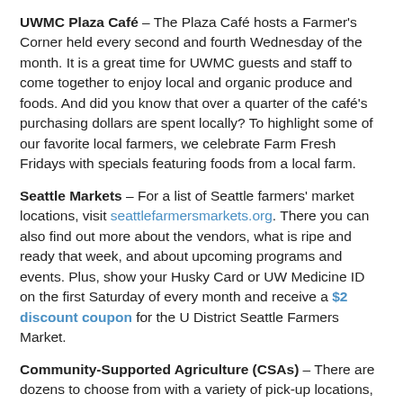UWMC Plaza Café – The Plaza Café hosts a Farmer's Corner held every second and fourth Wednesday of the month. It is a great time for UWMC guests and staff to come together to enjoy local and organic produce and foods. And did you know that over a quarter of the café's purchasing dollars are spent locally? To highlight some of our favorite local farmers, we celebrate Farm Fresh Fridays with specials featuring foods from a local farm.
Seattle Markets – For a list of Seattle farmers' market locations, visit seattlefarmersmarkets.org. There you can also find out more about the vendors, what is ripe and ready that week, and about upcoming programs and events. Plus, show your Husky Card or UW Medicine ID on the first Saturday of every month and receive a $2 discount coupon for the U District Seattle Farmers Market.
Community-Supported Agriculture (CSAs) – There are dozens to choose from with a variety of pick-up locations, and some even offering local delivery. UW faculty and staff receive a discount from Boistfort Valley Farm and Full Circle. See all food discounts here.